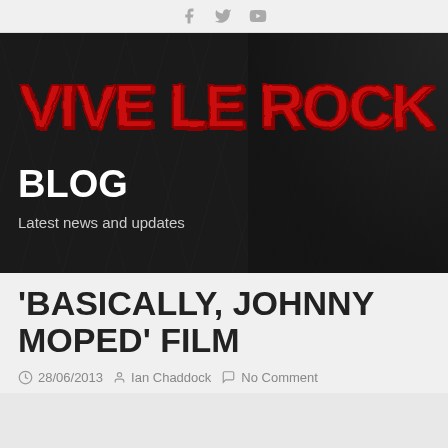Social media icons: Facebook, Twitter, YouTube
[Figure (logo): Vive Le Rock! logo in red grunge lettering on dark textured background with BLOG heading and 'Latest news and updates' subtitle]
'BASICALLY, JOHNNY MOPED' FILM
28/06/2013  Ian Chaddock  No Comment